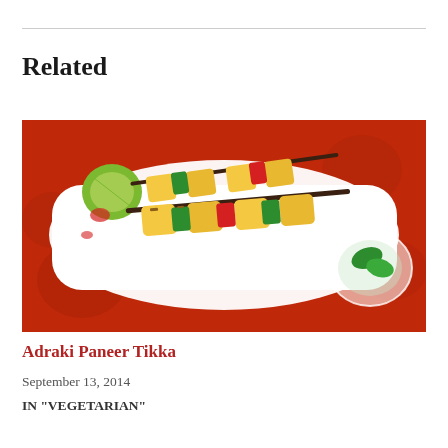Related
[Figure (photo): Two skewers of Adraki Paneer Tikka — cubes of marinated paneer and bell peppers on skewers, served on a white rectangular plate with a lime wedge and garnish, placed on a red floral tablecloth with glass bowls with mint leaves in the background.]
Adraki Paneer Tikka
September 13, 2014
IN "VEGETARIAN"